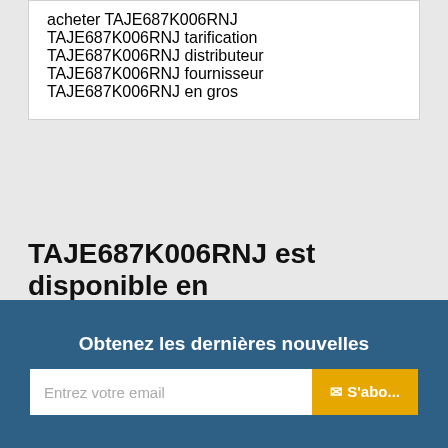acheter TAJE687K006RNJ
TAJE687K006RNJ tarification
TAJE687K006RNJ distributeur
TAJE687K006RNJ fournisseur
TAJE687K006RNJ en gros
TAJE687K006RNJ est disponible en
Catalogue de Produits » Condensateurs » Condensateurs au tantale » AVX Corporation
Obtenez les dernières nouvelles
Entrez votre email
✉ S'abo...